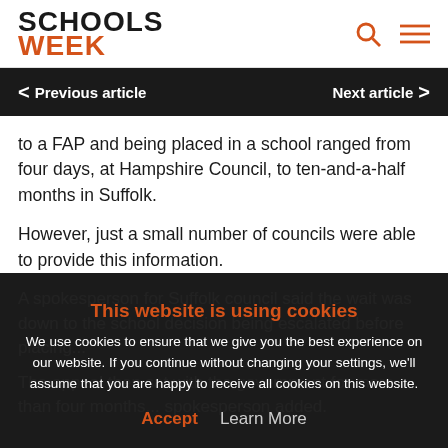SCHOOLS WEEK
Previous article | Next article
to a FAP and being placed in a school ranged from four days, at Hampshire Council, to ten-and-a-half months in Suffolk.
However, just a small number of councils were able to provide this information.
A spokesperson for Suffolk council said the wait was down to the school decision being escalated before placing...
The appeal then sat with the government for more than four months... spokesperson added.
This website is using cookies
We use cookies to ensure that we give you the best experience on our website. If you continue without changing your settings, we'll assume that you are happy to receive all cookies on this website.
Accept  Learn More